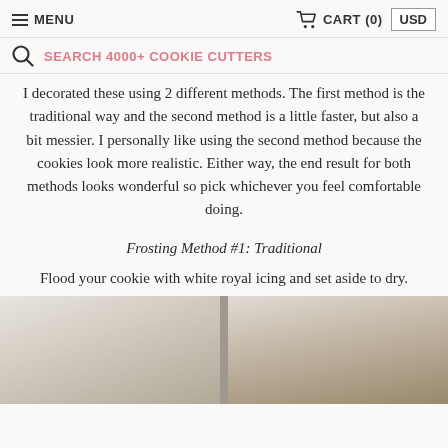MENU   CART (0)   USD
SEARCH 4000+ COOKIE CUTTERS
I decorated these using 2 different methods. The first method is the traditional way and the second method is a little faster, but also a bit messier. I personally like using the second method because the cookies look more realistic. Either way, the end result for both methods looks wonderful so pick whichever you feel comfortable doing.
Frosting Method #1: Traditional
Flood your cookie with white royal icing and set aside to dry.
[Figure (photo): Two side-by-side photos showing cookies being frosted with white royal icing]